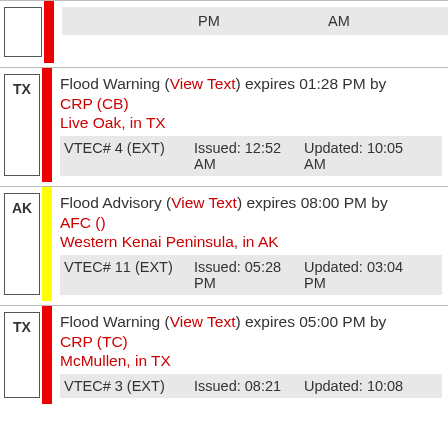| State | Alert | Issued | Updated |
| --- | --- | --- | --- |
|  | PM | AM |  |
| TX | Flood Warning (View Text) expires 01:28 PM by CRP (CB) Live Oak, in TX VTEC# 4 (EXT) | Issued: 12:52 AM | Updated: 10:05 AM |
| AK | Flood Advisory (View Text) expires 08:00 PM by AFC () Western Kenai Peninsula, in AK VTEC# 11 (EXT) | Issued: 05:28 PM | Updated: 03:04 PM |
| TX | Flood Warning (View Text) expires 05:00 PM by CRP (TC) McMullen, in TX VTEC# 3 (EXT) | Issued: 08:21 | Updated: 10:08 |